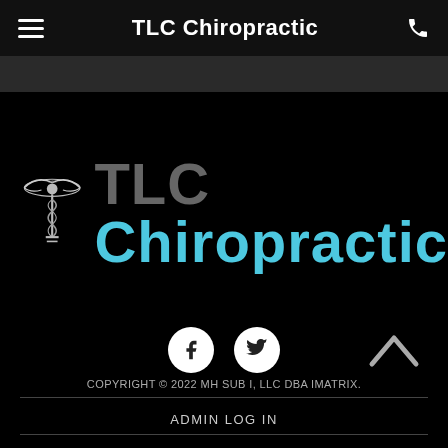TLC Chiropractic
[Figure (logo): TLC Chiropractic logo with caduceus symbol on left, 'TLC' in gray and 'Chiropractic' in blue text on the right]
[Figure (infographic): Facebook and Twitter social media icons (white icons on white circles), and a caret/up arrow for back-to-top navigation]
COPYRIGHT © 2022 MH SUB I, LLC DBA IMATRIX.
ADMIN LOG IN